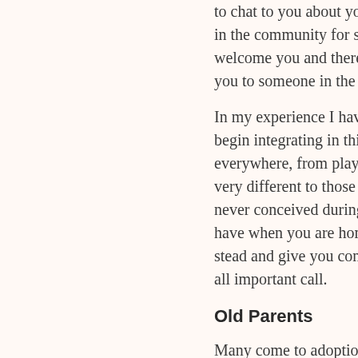to chat to you about your ideas for in the community for some time a welcome you and there is every c you to someone in the room who
In my experience I have found tha begin integrating in this new woul everywhere, from playgrounds to very different to those I had pre a never conceived during the proce have when you are home with ou stead and give you confidence wh all important call.
Old Parents
Many come to adoption quite late how unsavory it sounds, our pare life that seems to go over the hea
Preena's mother was getting frail week to help her out. Her social w panic. Concerned that there will b she would be unable to cope they put a very clear case forward, with members also supporting the par